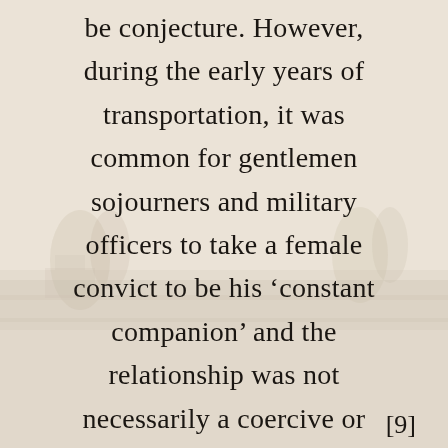be conjecture. However, during the early years of transportation, it was common for gentlemen sojourners and military officers to take a female convict to be his ‘constant companion’ and the relationship was not necessarily a coercive or
[9]